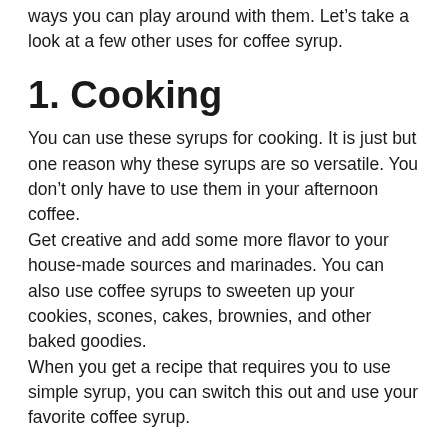ways you can play around with them. Let's take a look at a few other uses for coffee syrup.
1. Cooking
You can use these syrups for cooking. It is just but one reason why these syrups are so versatile. You don't only have to use them in your afternoon coffee.
Get creative and add some more flavor to your house-made sources and marinades. You can also use coffee syrups to sweeten up your cookies, scones, cakes, brownies, and other baked goodies.
When you get a recipe that requires you to use simple syrup, you can switch this out and use your favorite coffee syrup.